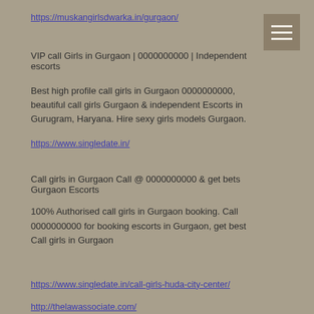https://muskangirlsdwarka.in/gurgaon/
VIP call Girls in Gurgaon | 0000000000 | Independent escorts
Best high profile call girls in Gurgaon 0000000000, beautiful call girls Gurgaon & independent Escorts in Gurugram, Haryana. Hire sexy girls models Gurgaon.
https://www.singledate.in/
Call girls in Gurgaon Call @ 0000000000 & get bets Gurgaon Escorts
100% Authorised call girls in Gurgaon booking. Call 0000000000 for booking escorts in Gurgaon, get best Call girls in Gurgaon
https://www.singledate.in/call-girls-huda-city-center/
http://thelawassociate.com/